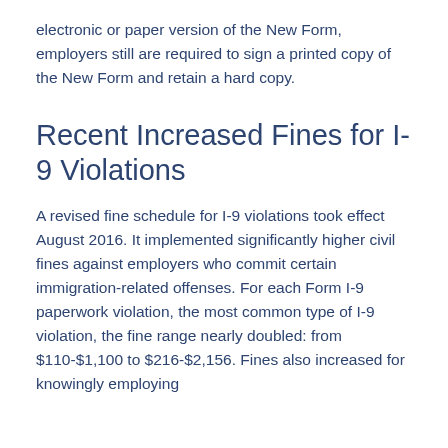electronic or paper version of the New Form, employers still are required to sign a printed copy of the New Form and retain a hard copy.
Recent Increased Fines for I-9 Violations
A revised fine schedule for I-9 violations took effect August 2016. It implemented significantly higher civil fines against employers who commit certain immigration-related offenses. For each Form I-9 paperwork violation, the most common type of I-9 violation, the fine range nearly doubled: from $110-$1,100 to $216-$2,156. Fines also increased for knowingly employing